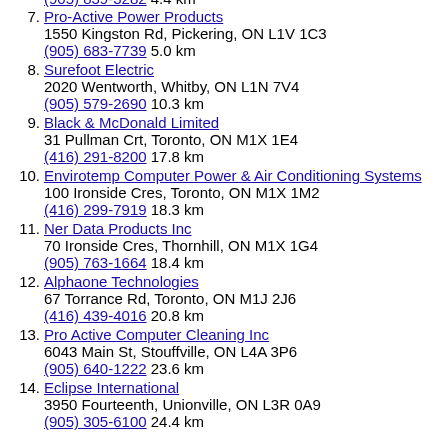7. Pro-Active Power Products
1550 Kingston Rd, Pickering, ON L1V 1C3
(905) 683-7739 5.0 km
8. Surefoot Electric
2020 Wentworth, Whitby, ON L1N 7V4
(905) 579-2690 10.3 km
9. Black & McDonald Limited
31 Pullman Crt, Toronto, ON M1X 1E4
(416) 291-8200 17.8 km
10. Envirotemp Computer Power & Air Conditioning Systems
100 Ironside Cres, Toronto, ON M1X 1M2
(416) 299-7919 18.3 km
11. Ner Data Products Inc
70 Ironside Cres, Thornhill, ON M1X 1G4
(905) 763-1664 18.4 km
12. Alphaone Technologies
67 Torrance Rd, Toronto, ON M1J 2J6
(416) 439-4016 20.8 km
13. Pro Active Computer Cleaning Inc
6043 Main St, Stouffville, ON L4A 3P6
(905) 640-1222 23.6 km
14. Eclipse International
3950 Fourteenth, Unionville, ON L3R 0A9
(905) 305-6100 24.4 km